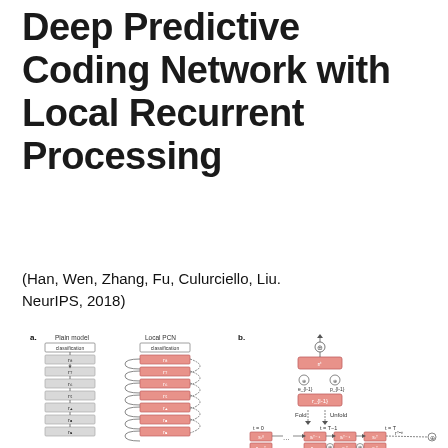Deep Predictive Coding Network with Local Recurrent Processing
(Han, Wen, Zhang, Fu, Culurciello, Liu. NeurIPS, 2018)
[Figure (schematic): Two-part diagram: (a) shows Plain model versus Local PCN architectures with stacked layers r2 through r8 with recurrent connections and classification heads; (b) shows a folded/unfolded view of local recurrent processing across time steps t=0 to t=T with feedback connections between layers.]